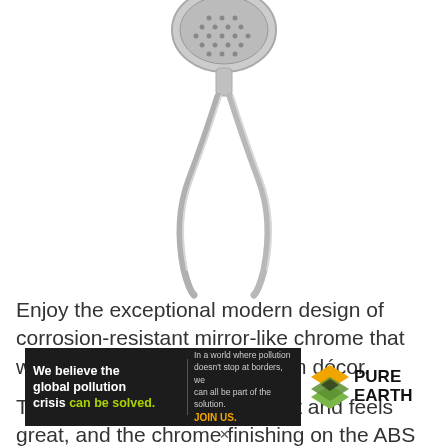[Figure (photo): Chrome handheld showerhead with hose, shown from above on white background]
Enjoy the exceptional modern design of corrosion-resistant mirror-like chrome that will complement your bathroom décor.
The showerhead looks elegant and feels great, and the chrome finishing on the ABS plastic material is resistant to fingerprints and water spots.
[Figure (infographic): Pure Earth advertisement banner: 'We believe the global pollution crisis can be solved.' with JOIN US call to action and Pure Earth logo]